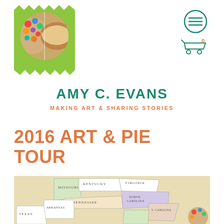[Figure (logo): Circular logo showing a colorful artist palette with paint blobs on left half and a pie on right half, mounted on a lime green zigzag-edged badge/stamp shape]
[Figure (illustration): Hamburger menu icon in teal circle and shopping cart icon with orange '0' badge, navigation icons top right]
AMY C. EVANS
MAKING ART & SHARING STORIES
2016 ART & PIE TOUR
[Figure (map): Vintage-style antique map showing southeastern United States including Missouri, Kentucky, Virginia, Tennessee, North Carolina, Arkansas, South Carolina, Georgia, Texas and neighboring states with pastel coloring]